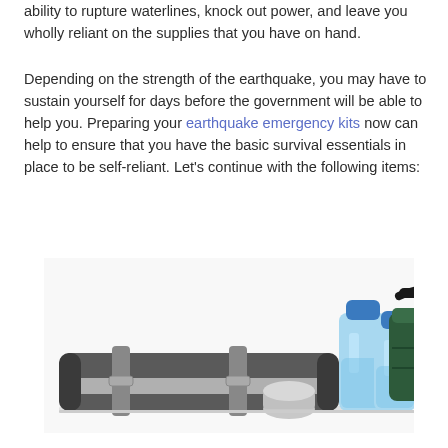ability to rupture waterlines, knock out power, and leave you wholly reliant on the supplies that you have on hand.
Depending on the strength of the earthquake, you may have to sustain yourself for days before the government will be able to help you. Preparing your earthquake emergency kits now can help to ensure that you have the basic survival essentials in place to be self-reliant. Let's continue with the following items:
[Figure (photo): A photograph of an earthquake emergency kit showing a grey and black rolled sleeping pad/mat with straps, two large blue plastic water bottles with blue caps, and a dark green camping lantern or container with a black handle, all arranged on a flat surface.]